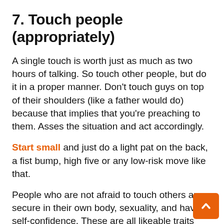7. Touch people (appropriately)
A single touch is worth just as much as two hours of talking. So touch other people, but do it in a proper manner. Don't touch guys on top of their shoulders (like a father would do) because that implies that you're preaching to them. Asses the situation and act accordingly.
Start small and just do a light pat on the back, a fist bump, high five or any low-risk move like that.
People who are not afraid to touch others are secure in their own body, sexuality, and have self-confidence. These are all likeable traits and you can convey them by touching people appropriately. Invite girls to dance, invite guys to games where